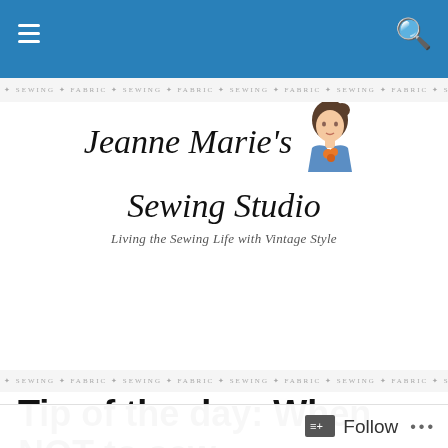Navigation bar with menu and search icons
[Figure (logo): Jeanne Marie's Sewing Studio logo with vintage illustration of a woman and script text, tagline: Living the Sewing Life with Vintage Style]
Tip of the day: When NOT to sew
I shouldn't even have turned on the machine …
After three-quarters of a painfully unproductive weekend was over (no sewing, no cooking, no cleaning), I
Follow